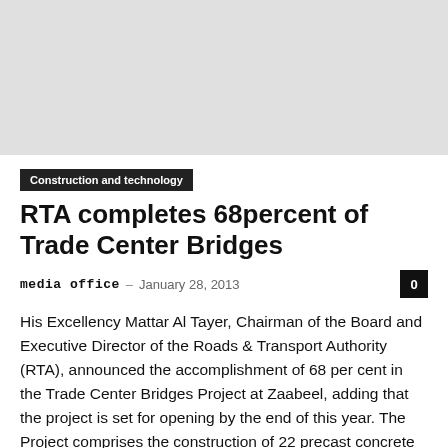[Figure (photo): Top image area (gray/blank placeholder for article image)]
Construction and technology
RTA completes 68percent of Trade Center Bridges
media office  –  January 28, 2013
His Excellency Mattar Al Tayer, Chairman of the Board and Executive Director of the Roads & Transport Authority (RTA), announced the accomplishment of 68 per cent in the Trade Center Bridges Project at Zaabeel, adding that the project is set for opening by the end of this year. The Project comprises the construction of 22 precast concrete slabs bridges extending 4250 meters with a capacity of two lanes in each direction, in addition to a 120 meter long concrete bridge added to serve the traffic